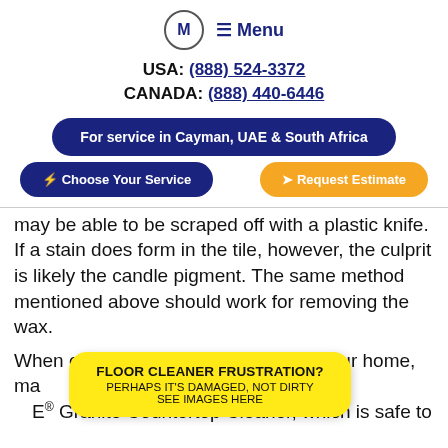M  ☰ Menu
USA: (888) 524-3372
CANADA: (888) 440-6446
For service in Cayman, UAE & South Africa
⚡ Choose Your Service
➤ Request Estimate
may be able to be scraped off with a plastic knife. If a stain does form in the tile, however, the culprit is likely the candle pigment. The same method mentioned above should work for removing the wax.
When caring for the natural stone in your home, ma... y with a stone-saf... E® Granite Countertop Cleaner, which is safe to
[Figure (infographic): Yellow popup box with text: FLOOR CLEANER FRUSTRATION? PERHAPS IT'S DAMAGED, NOT DIRTY SEE IMAGES HERE]